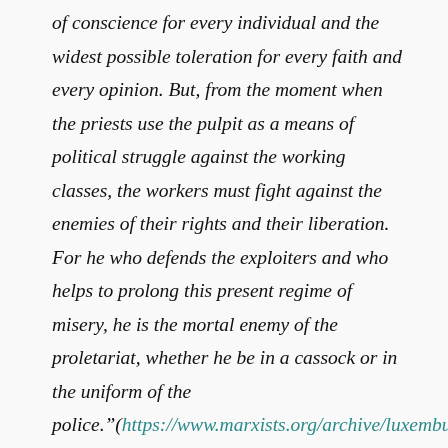of conscience for every individual and the widest possible toleration for every faith and every opinion. But, from the moment when the priests use the pulpit as a means of political struggle against the working classes, the workers must fight against the enemies of their rights and their liberation. For he who defends the exploiters and who helps to prolong this present regime of misery, he is the mortal enemy of the proletariat, whether he be in a cassock or in the uniform of the police."(https://www.marxists.org/archive/luxemburg/1905/misc/socialism-churches.htm)